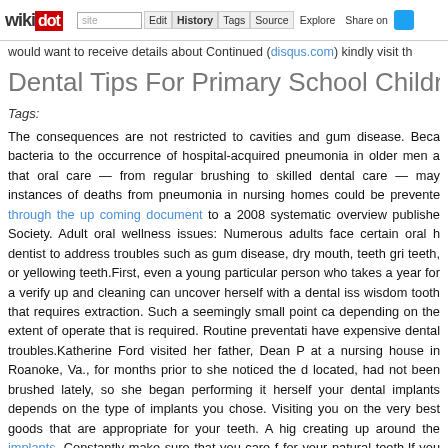wikidot | site | Edit | History | Tags | Source | Explore | Share on [Twitter]
would want to receive details about Continued (disqus.com) kindly visit th
Dental Tips For Primary School Children (5 - 29 J
Tags:
The consequences are not restricted to cavities and gum disease. Beca bacteria to the occurrence of hospital-acquired pneumonia in older men a that oral care — from regular brushing to skilled dental care — may instances of deaths from pneumonia in nursing homes could be prevente through the up coming document to a 2008 systematic overview publishe Society. Adult oral wellness issues: Numerous adults face certain oral h dentist to address troubles such as gum disease, dry mouth, teeth gri teeth, or yellowing teeth.First, even a young particular person who takes a year for a verify up and cleaning can uncover herself with a dental iss wisdom tooth that requires extraction. Such a seemingly small point ca depending on the extent of operate that is required. Routine preventati have expensive dental troubles.Katherine Ford visited her father, Dean P at a nursing house in Roanoke, Va., for months prior to she noticed the d located, had not been brushed lately, so she began performing it herself your dental implants depends on the type of implants you chose. Visiting you on the very best goods that are appropriate for your teeth. A hig creating up around the implants. Constantly make sure that you care f for your natural teeth.If you happen to be one of the 25 % of Americans you use effectively water), your child's pediatrician or pediatric dentist wi night Penny takes a chewable fluoride-plus-multivitamin just before bed. concerned about toxins who oppose fluoridating water supplies but the Ce American Academy of Household Physicians, the ADA, and the America